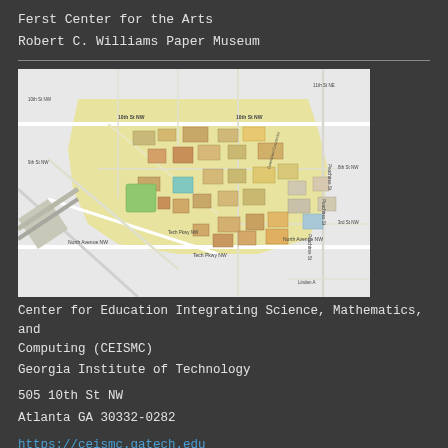Ferst Center for the Arts
Robert C. Williams Paper Museum
[Figure (map): Campus map of Georgia Institute of Technology showing streets and buildings around 10th St NW, North Avenue NW, and surrounding area in Atlanta GA]
Center for Education Integrating Science, Mathematics, and Computing (CEISMC)
Georgia Institute of Technology
505 10th St NW
Atlanta GA 30332-0282
https://ceismc.gatech.edu